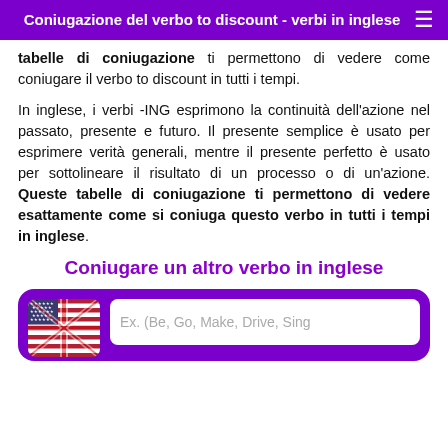Coniugazione del verbo to discount - verbi in inglese
tabelle di coniugazione ti permettono di vedere come coniugare il verbo to discount in tutti i tempi.
In inglese, i verbi -ING esprimono la continuità dell'azione nel passato, presente e futuro. Il presente semplice è usato per esprimere verità generali, mentre il presente perfetto è usato per sottolineare il risultato di un processo o di un'azione. Queste tabelle di coniugazione ti permettono di vedere esattamente come si coniuga questo verbo in tutti i tempi in inglese.
Coniugare un altro verbo in inglese
[Figure (infographic): A card with a US/UK flag icon on the left and a text input field on the right with placeholder text 'Ex. (Be, Go, Make, Drive, Sing']